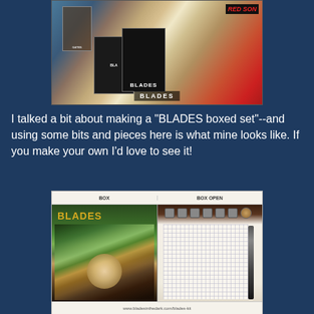[Figure (photo): Photo of several BLADES books/game materials spread out on a surface, including books with covers showing fantasy warriors and text reading 'BLADES'. Also visible are 'Red Son' and other items.]
I talked a bit about making a "BLADES boxed set"--and using some bits and pieces here is what mine looks like. If you make your own I'd love to see it!
[Figure (photo): Photo showing two panels labeled 'BOX' and 'BOX OPEN'. Left panel shows the BLADES game box cover with fantasy artwork. Right panel shows the open box containing a grid notepad, pen, and dice with coin.]